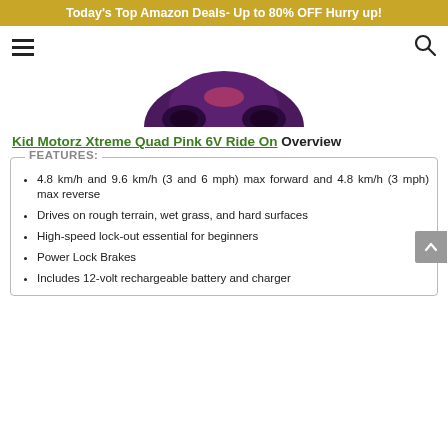Today's Top Amazon Deals- Up to 80% OFF Hurry up!
[Figure (photo): Partial product image of Kid Motorz Xtreme Quad Pink 6V Ride On toy]
Kid Motorz Xtreme Quad Pink 6V Ride On Overview
FEATURES:
4.8 km/h and 9.6 km/h (3 and 6 mph) max forward and 4.8 km/h (3 mph) max reverse
Drives on rough terrain, wet grass, and hard surfaces
High-speed lock-out essential for beginners
Power Lock Brakes
Includes 12-volt rechargeable battery and charger